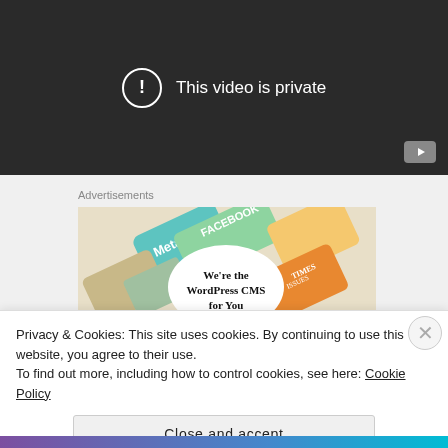[Figure (screenshot): YouTube video player showing 'This video is private' message with exclamation mark icon in a circle, on a dark background, with YouTube logo button in bottom right corner.]
Advertisements
[Figure (screenshot): Advertisement image showing social media brand tiles (Meta, Facebook, etc.) with text 'We're the WordPress CMS for You']
Privacy & Cookies: This site uses cookies. By continuing to use this website, you agree to their use.
To find out more, including how to control cookies, see here: Cookie Policy
Close and accept